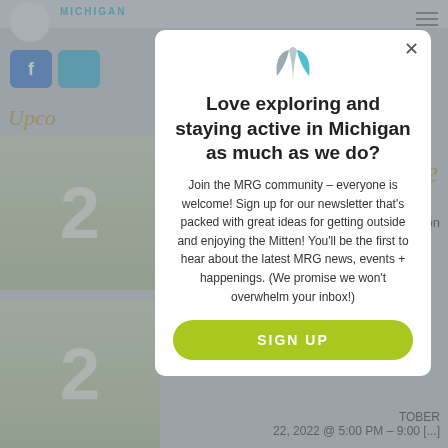[Figure (screenshot): Background of a Michigan recreation/outdoors website with blurred content including a logo, Facebook icon, 'Upcoming' section heading, calendar cards with the number 2, and partial text about events.]
Love exploring and staying active in Michigan as much as we do?
Join the MRG community – everyone is welcome! Sign up for our newsletter that's packed with great ideas for getting outside and enjoying the Mitten! You'll be the first to hear about the latest MRG news, events + happenings. (We promise we won't overwhelm your inbox!)
SIGN UP